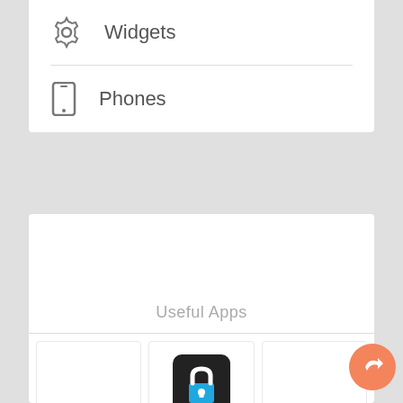Widgets
Phones
Useful Apps
Holy Quran
App Lock
WhatsApp
QR Scanner
Gallery
Chrome